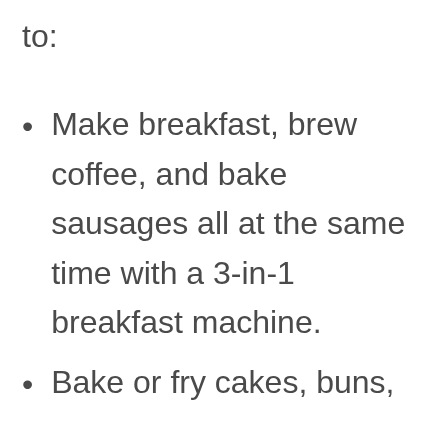to:
Make breakfast, brew coffee, and bake sausages all at the same time with a 3-in-1 breakfast machine.
Bake or fry cakes, buns,